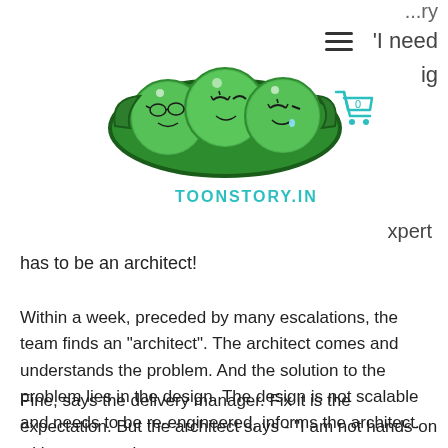[Figure (illustration): Three cartoon peas in a pod illustration with smiling faces and glasses]
TOONSTORY.IN
...ry | need ig xpert
has to be an architect!
Within a week, preceded by many escalations, the team finds an "architect". The architect comes and understands the problem. And the solution to the problem lies in the design. The design is not scalable and needs to be re-engineered, informs the architect.
Fine, says the delivery manager. Fix it is the expectation. But the architect says - "I am not hands-on with programming